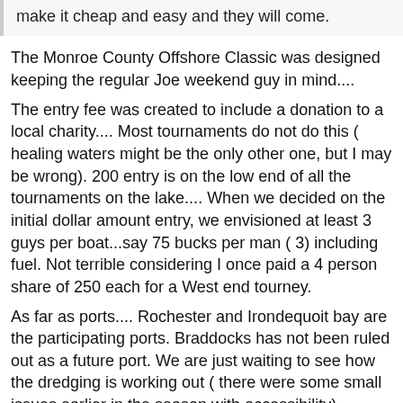make it cheap and easy and they will come.
The Monroe County Offshore Classic was designed keeping the regular Joe weekend guy in mind....
The entry fee was created to include a donation to a local charity.... Most tournaments do not do this ( healing waters might be the only other one, but I may be wrong). 200 entry is on the low end of all the tournaments on the lake.... When we decided on the initial dollar amount entry, we envisioned at least 3 guys per boat...say 75 bucks per man ( 3) including fuel. Not terrible considering I once paid a 4 person share of 250 each for a West end tourney.
As far as ports.... Rochester and Irondequoit bay are the participating ports. Braddocks has not been ruled out as a future port. We are just waiting to see how the dredging is working out ( there were some small issues earlier in the season with accessibility)
As far as signing up at the last minute.... I will be around Rochester the Friday before. 5pm is the cut off, however you will have to arrange to meet up with me before then. I explained that with pay pal comes fees.... And In the spirit of the tourney being 100% pay out ( minus the donation) we wanted it to remain as is for this year.
Now to the claim about Lake Trout.... Only being able to weigh one laker